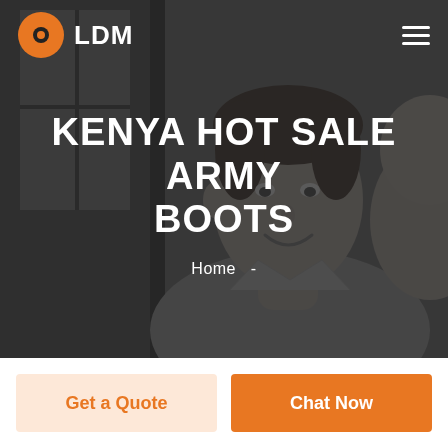LDM
[Figure (photo): Grayscale background photo of a smiling man in a light shirt, with a dark overlay. LDM logo with orange icon top left, hamburger menu top right.]
KENYA HOT SALE ARMY BOOTS
Home  -
Get a Quote
Chat Now